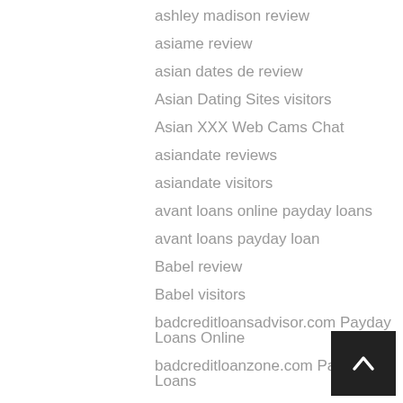ashley madison review
asiame review
asian dates de review
Asian Dating Sites visitors
Asian XXX Web Cams Chat
asiandate reviews
asiandate visitors
avant loans online payday loans
avant loans payday loan
Babel review
Babel visitors
badcreditloansadvisor.com Payday Loans Online
badcreditloanzone.com Payday Loans